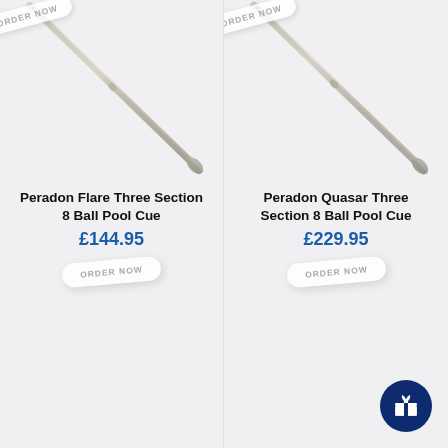[Figure (photo): Peradon Flare Three Section 8 Ball Pool Cue product photo with ORDER NOW badge, diagonal cue on light grey background]
Peradon Flare Three Section 8 Ball Pool Cue
£144.95
ORDER NOW
[Figure (photo): Peradon Quasar Three Section 8 Ball Pool Cue product photo with ORDER NOW badge, diagonal cue on light grey background]
Peradon Quasar Three Section 8 Ball Pool Cue
£229.95
ORDER NOW
[Figure (illustration): Gift/present icon in dark navy circle button, bottom right corner]